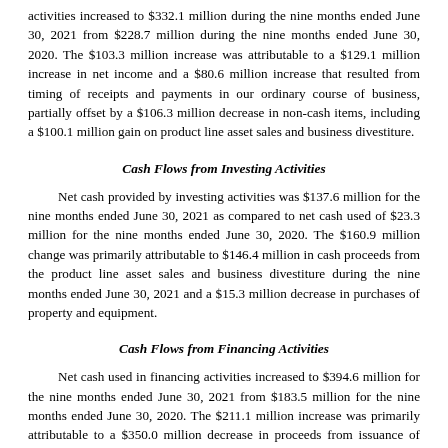activities increased to $332.1 million during the nine months ended June 30, 2021 from $228.7 million during the nine months ended June 30, 2020. The $103.3 million increase was attributable to a $129.1 million increase in net income and a $80.6 million increase that resulted from timing of receipts and payments in our ordinary course of business, partially offset by a $106.3 million decrease in non-cash items, including a $100.1 million gain on product line asset sales and business divestiture.
Cash Flows from Investing Activities
Net cash provided by investing activities was $137.6 million for the nine months ended June 30, 2021 as compared to net cash used of $23.3 million for the nine months ended June 30, 2020. The $160.9 million change was primarily attributable to $146.4 million in cash proceeds from the product line asset sales and business divestiture during the nine months ended June 30, 2021 and a $15.3 million decrease in purchases of property and equipment.
Cash Flows from Financing Activities
Net cash used in financing activities increased to $394.6 million for the nine months ended June 30, 2021 from $183.5 million for the nine months ended June 30, 2020. The $211.1 million increase was primarily attributable to a $350.0 million decrease in proceeds from issuance of senior notes and a $331.2 million increase in repurchases of common stock, partially offset by a $236.0 million increase in proceeds from our revolving line of credit and a $227.0 million decrease in payments on our revolving line of credit.